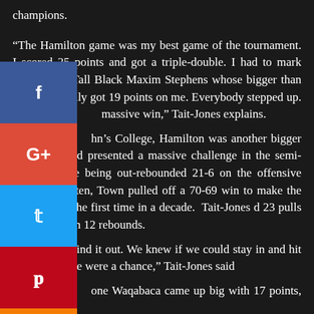champions.
“The Hamilton game was my best game of the tournament. I scored 35 points and got a triple-double. I had to mark their Junior Tall Black Maxim Stephens whose bigger than me, but he only got 19 points on me. Everybody stepped up. It massive win,” Tait-Jones explains.
hn’s College, Hamilton was another bigger team than and presented a massive challenge in the semi-final. Despite being out-rebounded 21-6 on the offensive end and g often, Town pulled off a 70-69 win to make the nal final for the first time in a decade. Tait-Jones d 23 pulls and reigned in 12 rebounds.
just had to grind it out. We knew if we could stay in and hit some shots we were a chance,” Tait-Jones said
one Waqabaca came up big with 17 points, the same